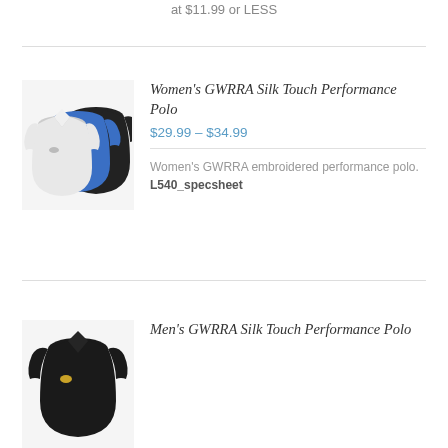at $11.99 or LESS
[Figure (photo): Three women's polo shirts in black, blue, and white colors]
Women's GWRRA Silk Touch Performance Polo
$29.99 – $34.99
Women's GWRRA embroidered performance polo. L540_specsheet
[Figure (photo): Men's black polo shirt]
Men's GWRRA Silk Touch Performance Polo